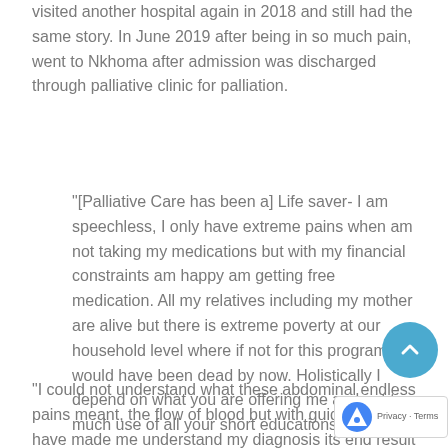visited another hospital again in 2018 and still had the same story. In June 2019 after being in so much pain, went to Nkhoma after admission was discharged through palliative clinic for palliation.
"[Palliative Care has been a] Life saver- I am speechless, I only have extreme pains when am not taking my medications but with my financial constraints am happy am getting free medication. All my relatives including my mother are alive but there is extreme poverty at our household level where if not for this program I would have been dead by now. Holistically I depend on what you are offering me and put to much use of all your short educations.
"I could not understand what these abdominal endless pains meant, the flow of blood but with guidance you have made me understand my diagnosis its end result and that is all I need